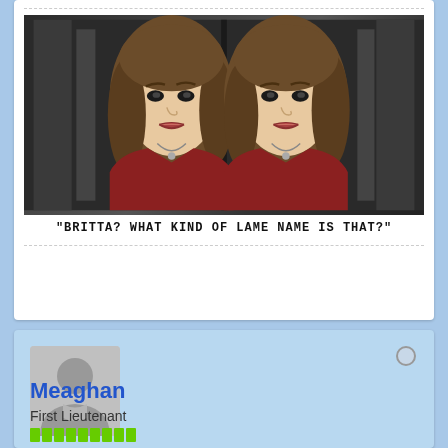[Figure (illustration): Comic-style illustration of a woman (Britta) shown twice side by side, with dark moody background. She has brown hair, wearing a dark red jacket with a necklace, looking skeptical or concerned.]
"BRITTA? WHAT KIND OF LAME NAME IS THAT?"
[Figure (illustration): User profile card with default grey avatar silhouette placeholder image]
Meaghan
First Lieutenant
[Figure (infographic): Green reputation/rank progress bar made of multiple small rectangular pips]